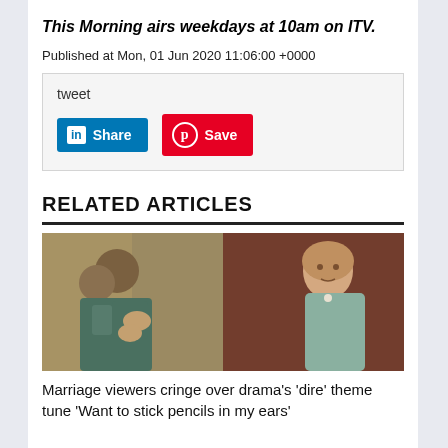This Morning airs weekdays at 10am on ITV.
Published at Mon, 01 Jun 2020 11:06:00 +0000
tweet
[Figure (screenshot): LinkedIn Share button and Pinterest Save button]
RELATED ARTICLES
[Figure (photo): Two photos side by side: left shows two people embracing, right shows a woman in a grey jacket]
Marriage viewers cringe over drama's 'dire' theme tune 'Want to stick pencils in my ears'